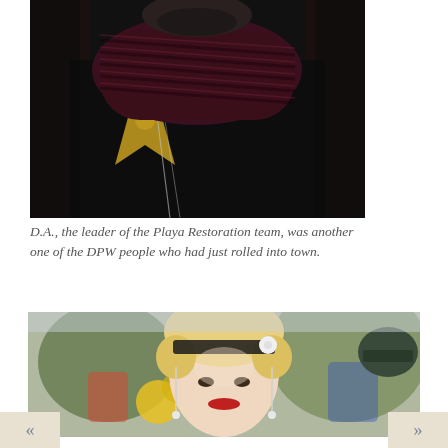[Figure (photo): Close-up photo of a man wearing a black jacket with gold emblem, a black and pink/maroon houndstooth patterned scarf wrapped around his neck, and silver chain necklaces. Dark background.]
D.A., the leader of the Playa Restoration team, was another one of the DPW people who had just rolled into town.
[Figure (photo): Close-up photo of a smiling woman with vintage 1920s style: blonde pin-curled hair, black lace headband with a white flower, dangling pearl/bead earrings, red lipstick. Colorful festival decorations and people visible in the blurred background including sunflowers and green trees.]